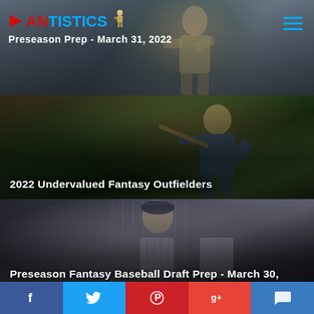FANTISTICS - Preseason Prep - March 31, 2022
[Figure (photo): Baseball player batting, card for 2022 Undervalued Fantasy Outfielders article]
2022 Undervalued Fantasy Outfielders
[Figure (photo): Baseball player in New York Yankees pinstripes looking up, card for Preseason Fantasy Baseball Draft Prep March 30 2022 article]
Preseason Fantasy Baseball Draft Prep - March 30, 2022
[Figure (photo): Baseball player wearing jersey number 29 PHAM, partially visible, card for another article]
Social share bar: Facebook, Twitter, Pinterest, Google+, Comments